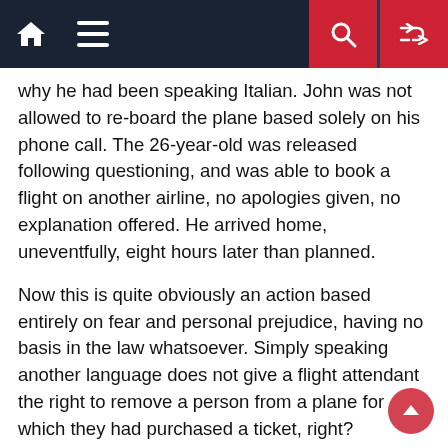Navigation bar with home, menu, search, and shuffle icons
why he had been speaking Italian. John was not allowed to re-board the plane based solely on his phone call. The 26-year-old was released following questioning, and was able to book a flight on another airline, no apologies given, no explanation offered. He arrived home, uneventfully, eight hours later than planned.
Now this is quite obviously an action based entirely on fear and personal prejudice, having no basis in the law whatsoever. Simply speaking another language does not give a flight attendant the right to remove a person from a plane for which they had purchased a ticket, right?
Hypothetically speaking, what if Italians were known for their wild terrorist antics, Italian being their spoken language, would that then give the airline the right to remove John, for fear that he might be a terrorist? The answer is still no.